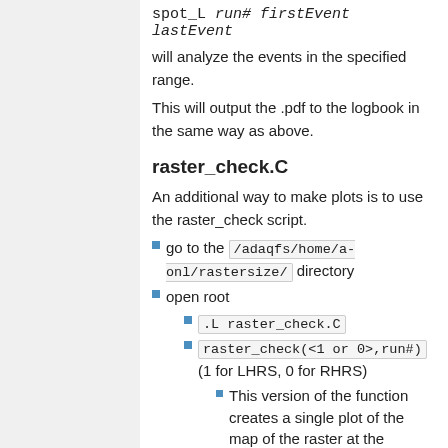spot_L run# firstEvent lastEvent
will analyze the events in the specified range.
This will output the .pdf to the logbook in the same way as above.
raster_check.C
An additional way to make plots is to use the raster_check script.
go to the /adaqfs/home/a-onl/rastersize/ directory
open root
.L raster_check.C
raster_check(<1 or 0>,run#) (1 for LHRS, 0 for RHRS)
This version of the function creates a single plot of the map of the raster at the target. This plot as well as the rest of the macro uses the Raster2.rawcur
If this is done on the carbon hole target, you should see the hole on the plot. Make a rough visual